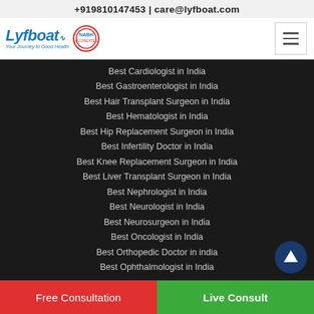+919810147453 | care@lyfboat.com
[Figure (logo): Lyfboat logo with ECG line and NABH accreditation badge, tagline: Your Journey to Good Health]
Best Cardiologist in India
Best Gastroenterologist in India
Best Hair Transplant Surgeon in India
Best Hematologist in India
Best Hip Replacement Surgeon in India
Best Infertility Doctor in India
Best Knee Replacement Surgeon in India
Best Liver Transplant Surgeon in India
Best Nephrologist in India
Best Neurologist in India
Best Neurosurgeon in India
Best Oncologist in India
Best Orthopedic Doctor in india
Best Ophthalmologist in India
Free Consultation
Live Consult